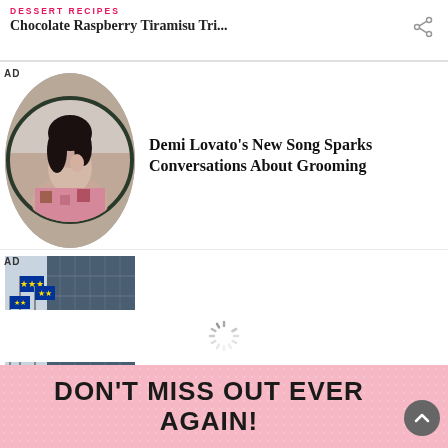DESSERT RECIPES – Chocolate Raspberry Tiramisu Tri...
[Figure (photo): Circular portrait photo of a dark-haired woman (Demi Lovato) with hand to face, wearing a patterned dress]
Demi Lovato's New Song Sparks Conversations About Grooming
[Figure (photo): Photo of European Union flags outside a large modern building (Qualcomm DMA ad)]
QUALCOMM ON IP LEADERSHIP – LeadershIP DMA Virtual Event
[Figure (other): Loading spinner animation]
DON'T MISS OUT EVER AGAIN!